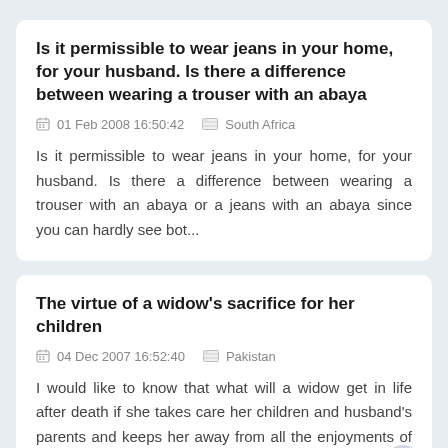Is it permissible to wear jeans in your home, for your husband. Is there a difference between wearing a trouser with an abaya
01 Feb 2008 16:50:42   South Africa
Is it permissible to wear jeans in your home, for your husband. Is there a difference between wearing a trouser with an abaya or a jeans with an abaya since you can hardly see bot...
The virtue of a widow's sacrifice for her children
04 Dec 2007 16:52:40   Pakistan
I would like to know that what will a widow get in life after death if she takes care her children and husband's parents and keeps her away from all the enjoyments of life, always...